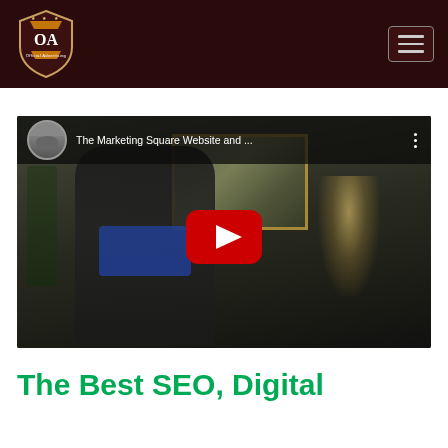Official Advertising – OA logo with hamburger menu
[Figure (screenshot): YouTube video thumbnail showing a woman in a black blazer standing in an office setting with a painting on the wall, a desk lamp, laptop, and leather chair. Video title: 'The Marketing Square Website and ...' with a red YouTube play button in the center.]
The Best SEO, Digital